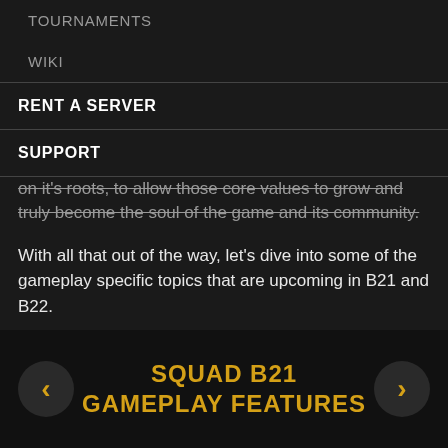TOURNAMENTS
WIKI
RENT A SERVER
SUPPORT
on it's roots, to allow those core values to grow and truly become the soul of the game and its community.
With all that out of the way, let's dive into some of the gameplay specific topics that are upcoming in B21 and B22.
SQUAD B21 GAMEPLAY FEATURES